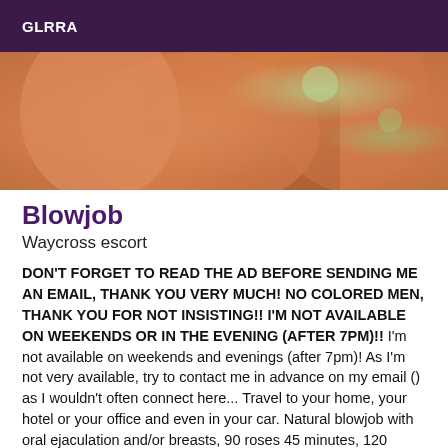GLRRA
[Figure (photo): Close-up photo of a person with reddish-orange hair, warm skin tones, with green bokeh light in background]
Blowjob
Waycross escort
DON'T FORGET TO READ THE AD BEFORE SENDING ME AN EMAIL, THANK YOU VERY MUCH! NO COLORED MEN, THANK YOU FOR NOT INSISTING!! I'M NOT AVAILABLE ON WEEKENDS OR IN THE EVENING (AFTER 7PM)!! I'm not available on weekends and evenings (after 7pm)! As I'm not very available, try to contact me in advance on my email () as I wouldn't often connect here... Travel to your home, your hotel or your office and even in your car. Natural blowjob with oral ejaculation and/or breasts, 90 roses 45 minutes, 120 roses 1 hour (which includes: french kiss